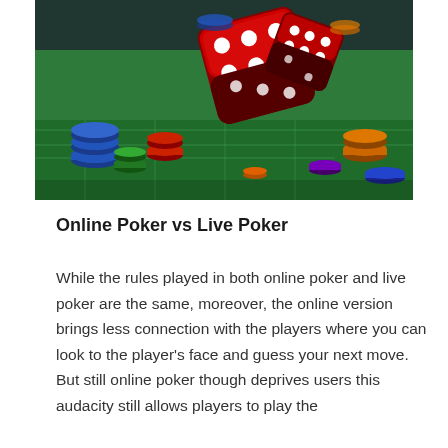[Figure (photo): Photo of red casino dice tumbling in the air above a green craps table covered with colorful casino chips in red, blue, green, orange, and purple.]
Online Poker vs Live Poker
While the rules played in both online poker and live poker are the same, moreover, the online version brings less connection with the players where you can look to the player's face and guess your next move. But still online poker though deprives users this audacity still allows players to play the